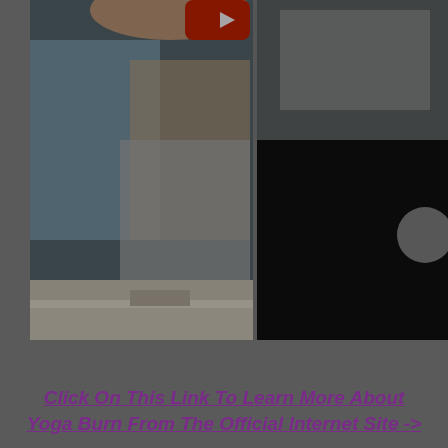[Figure (photo): Composite of yoga/exercise related photos: left panel shows a person in light clothing near a wall/door area with blue tones, right panel shows a dark background with what appears to be a yoga mat and partial figure]
Click On This Link To Learn More About Yoga Burn From The Official Internet Site ->